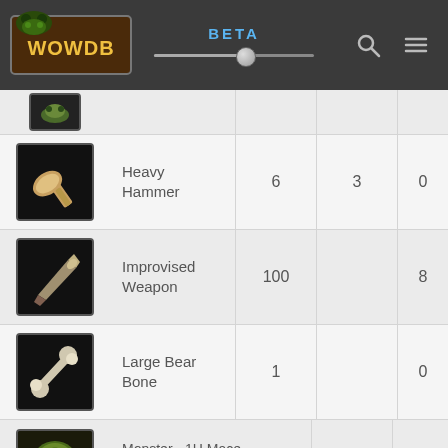WOWDB BETA
| Item | Name | Col1 | Col2 | Col3 |
| --- | --- | --- | --- | --- |
| [icon] |  |  |  |  |
| [icon] | Heavy Hammer | 6 | 3 | 0 |
| [icon] | Improvised Weapon | 100 |  | 8 |
| [icon] | Large Bear Bone | 1 |  | 0 |
| [icon] | Monster - 1H Mace - Mace_1H_FelfireRaid_D_02 Green | 1 |  | 0 |
| [icon] | Monster - 1H Mace - Mace_1H_FelfireRaid_D_03 - Green | 1 |  | 0 |
| [icon] | Monster - 1h Mace Sulfuras (New) | 1 |  | 0 |
| [icon] | Monster - 1H Mace, Invisible | 1 |  | 0 |